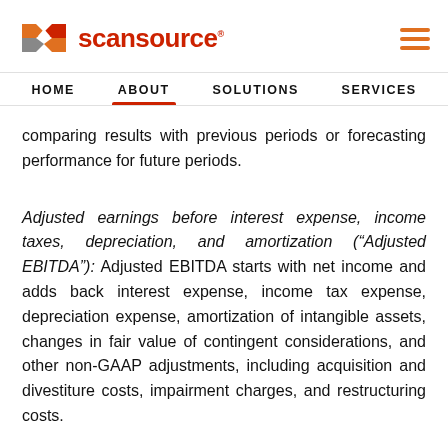[Figure (logo): ScanSource logo with orange/red geometric icon and red text]
HOME   ABOUT   SOLUTIONS   SERVICES
comparing results with previous periods or forecasting performance for future periods.
Adjusted earnings before interest expense, income taxes, depreciation, and amortization (“Adjusted EBITDA"): Adjusted EBITDA starts with net income and adds back interest expense, income tax expense, depreciation expense, amortization of intangible assets, changes in fair value of contingent considerations, and other non-GAAP adjustments, including acquisition and divestiture costs, impairment charges, and restructuring costs.